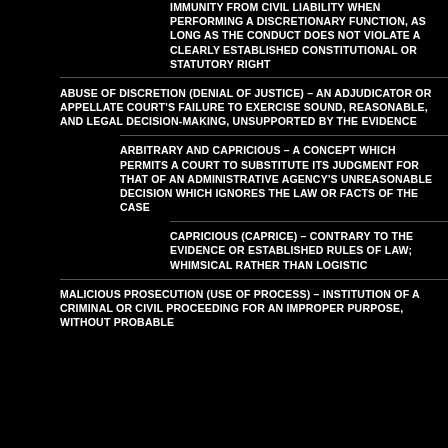IMMUNITY FROM CIVIL LIABILITY WHEN PERFORMING A DISCRETIONARY FUNCTION, AS LONG AS THE CONDUCT DOES NOT VIOLATE A CLEARLY ESTABLISHED CONSTITUTIONAL OR STATUTORY RIGHT
ABUSE OF DISCRETION (DENIAL OF JUSTICE) – AN ADJUDICATOR OR APPELLATE COURT'S FAILURE TO EXERCISE SOUND, REASONABLE, AND LEGAL DECISION-MAKING, UNSUPPORTED BY THE EVIDENCE
ARBITRARY AND CAPRICIOUS – A CONCEPT WHICH PERMITS A COURT TO SUBSTITUTE ITS JUDGMENT FOR THAT OF AN ADMINISTRATIVE AGENCY'S UNREASONABLE DECISION WHICH IGNORES THE LAW OR FACTS OF THE CASE
CAPRICIOUS (CAPRICE) – CONTRARY TO THE EVIDENCE OR ESTABLISHED RULES OF LAW; WHIMSICAL RATHER THAN LOGISTIC
MALICIOUS PROSECUTION (USE OF PROCESS) – INSTITUTION OF A CRIMINAL OR CIVIL PROCEEDING FOR AN IMPROPER PURPOSE, WITHOUT PROBABLE